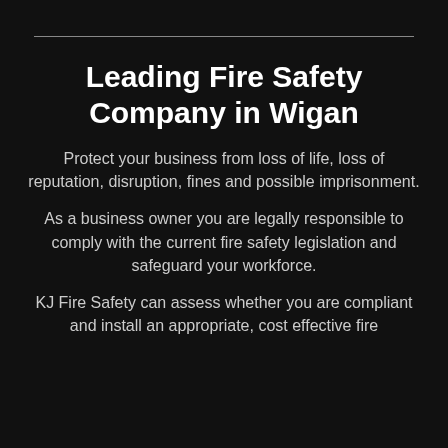Leading Fire Safety Company in Wigan
Protect your business from loss of life, loss of reputation, disruption, fines and possible imprisonment.
As a business owner you are legally responsible to comply with the current fire safety legislation and safeguard your workforce.
KJ Fire Safety can assess whether you are compliant and install an appropriate, cost effective fire